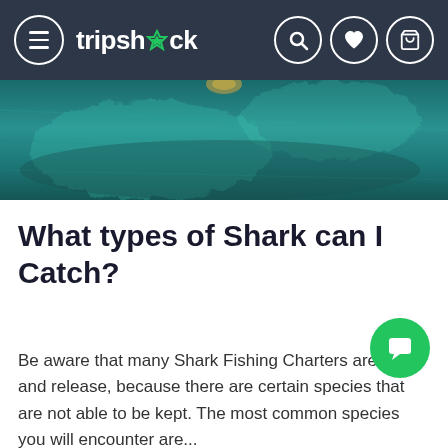tripshock
[Figure (photo): Underwater/ocean teal-colored background image, likely showing a shark or marine scene]
What types of Shark can I Catch?
Be aware that many Shark Fishing Charters are catch and release, because there are certain species that are not able to be kept. The most common species you will encounter are...